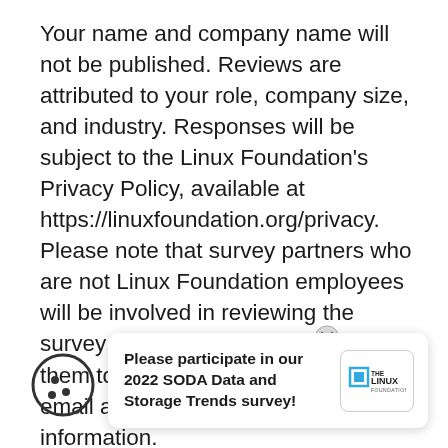Your name and company name will not be published. Reviews are attributed to your role, company size, and industry. Responses will be subject to the Linux Foundation's Privacy Policy, available at https://linuxfoundation.org/privacy. Please note that survey partners who are not Linux Foundation employees will be involved in reviewing the survey results. If you do not want them to have access to your name or email address, [this] is information.
[Figure (illustration): Cookie icon — circle with three dots representing a cookie]
Please participate in our 2022 SODA Data and Storage Trends survey!
[Figure (logo): The Linux Foundation logo in a rounded rectangle box]